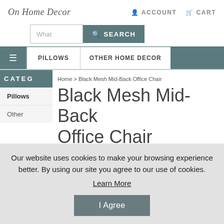On Home Decor | ACCOUNT | CART
What SEARCH
≡ PILLOWS | OTHER HOME DECOR
CATEG
Home > Black Mesh Mid-Back Office Chair
Pillows
Other
Black Mesh Mid-Back Office Chair
Our website uses cookies to make your browsing experience better. By using our site you agree to our use of cookies. Learn More
I Agree